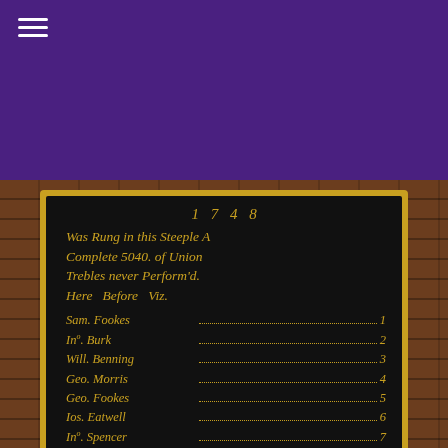[Figure (photo): Photograph of a historical black board with gold lettering dated 1748, mounted in a church steeple. The board reads: 'Was Rung in this Steeple A Complete 5040. of Union Trebles never Perform'd. Here Before Viz.' followed by a list of ringers numbered 1-8: Sam. Fookes 1, Ino. Burk 2, Will. Benning 3, Geo. Morris 4, Geo. Fookes 5, Ios. Eatwell 6, Ino. Spencer 7, Will. Cock 8 (with a brace), and a partial name beginning with R... below.]